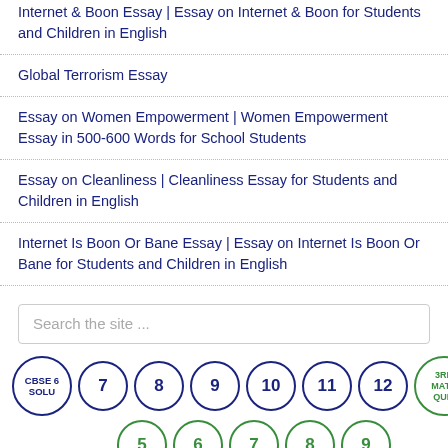Internet & Boon Essay | Essay on Internet & Boon for Students and Children in English
Global Terrorism Essay
Essay on Women Empowerment | Women Empowerment Essay in 500-600 Words for School Students
Essay on Cleanliness | Cleanliness Essay for Students and Children in English
Internet Is Boon Or Bane Essay | Essay on Internet Is Boon Or Bane for Students and Children in English
Search the site ...
CBSE 6 SOLU
7
8
9
10
11
12
3RD MATH QUIZ
4
5
6
7
8
9